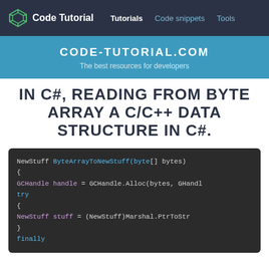Code Tutorial | Tutorials | Code snippets | Tools
CODE-TUTORIAL.COM
The best resources for developers
IN C#, READING FROM BYTE ARRAY A C/C++ DATA STRUCTURE IN C#.
[Figure (screenshot): C# code snippet showing a ByteArrayToNewStuff method with GCHandle, try/finally block and Marshal.PtrToStr call]